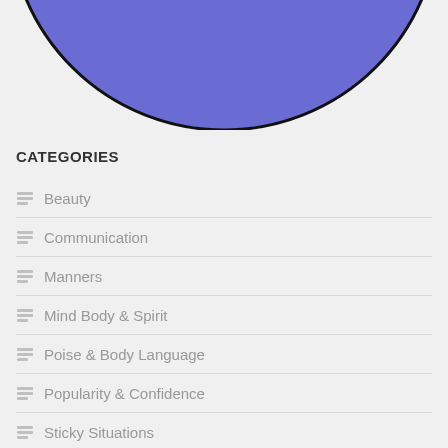[Figure (illustration): Bottom half of a large blue/purple circle with black outline, cropped at top of page, on a light gray background]
CATEGORIES
Beauty
Communication
Manners
Mind Body & Spirit
Poise & Body Language
Popularity & Confidence
Sticky Situations